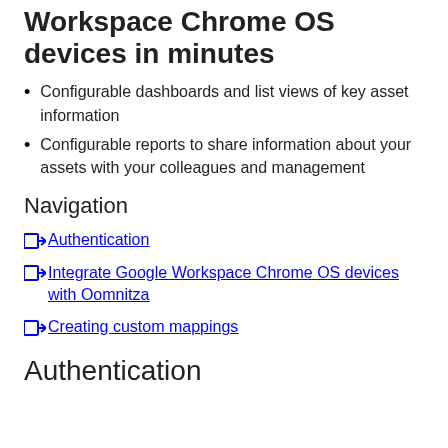Workspace Chrome OS devices in minutes
Configurable dashboards and list views of key asset information
Configurable reports to share information about your assets with your colleagues and management
Navigation
Authentication
Integrate Google Workspace Chrome OS devices with Oomnitza
Creating custom mappings
Authentication